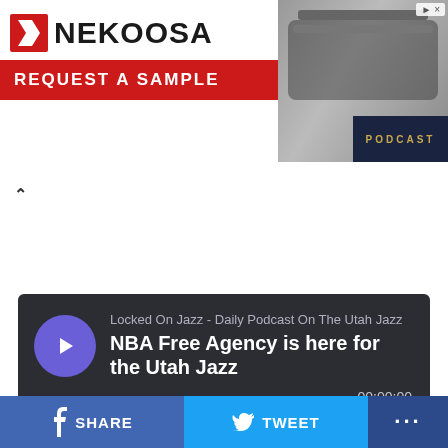[Figure (advertisement): Nekoosa brand advertisement with red 'REQUEST A SAMPLE' bar and image of printing machinery on the right]
[Figure (screenshot): Podcast audio player embed for 'Locked On Jazz - Daily Podcast On The Utah Jazz' episode titled 'NBA Free Agency is here for the Utah Jazz', showing waveform, playback time 00:00:00, and Megaphone branding. Controls: SHARE, SUBSCRIBE, COOKIE POLICY, DESCRIPTION]
NBA Free Agency is day is here for the Utah Jazz. What can we expect to take place? Will the Utah Jazz make a
[Figure (infographic): Social sharing bar with Facebook SHARE, Twitter TWEET, and more (...) buttons]